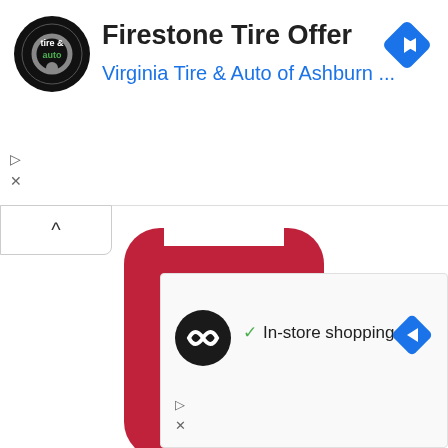[Figure (screenshot): Top advertisement banner: Firestone Tire Offer from Virginia Tire & Auto of Ashburn with logo and navigation diamond]
Firestone Tire Offer
Virginia Tire & Auto of Ashburn ...
[Figure (screenshot): App icon with red rounded square background, white left-pointing arrow, and text 'Kj' - a unit converter app]
KW to hp
[Figure (screenshot): App icon with red rounded square background, text 'KW' and white right-pointing arrow - a KW to hp converter app]
[Figure (screenshot): Bottom advertisement: In-store shopping with infinity logo and navigation diamond]